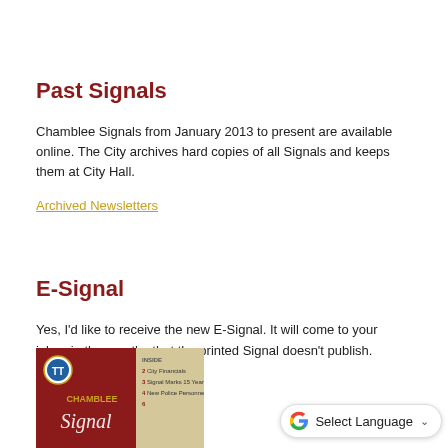Past Signals
Chamblee Signals from January 2013 to present are available online. The City archives hard copies of all Signals and keeps them at City Hall.
Archived Newsletters
E-Signal
Yes, I'd like to receive the new E-Signal. It will come to your inbox in the months that the printed Signal doesn't publish.
So sign me up!
[Figure (screenshot): Thumbnail of Chamblee Signal newsletter cover with city logo and inside listing showing 2 City Financials, 3 Signal Marks 15 Years, 4 New Police Personnel]
[Figure (other): Google Translate widget with 'Select Language' dropdown]